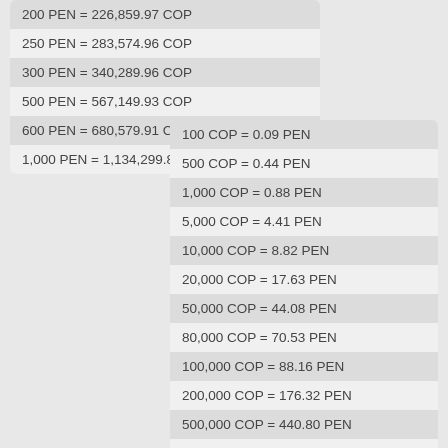| 200 PEN = 226,859.97 COP |
| 250 PEN = 283,574.96 COP |
| 300 PEN = 340,289.96 COP |
| 500 PEN = 567,149.93 COP |
| 600 PEN = 680,579.91 COP |
| 1,000 PEN = 1,134,299.86 COP |
| 100 COP = 0.09 PEN |
| 500 COP = 0.44 PEN |
| 1,000 COP = 0.88 PEN |
| 5,000 COP = 4.41 PEN |
| 10,000 COP = 8.82 PEN |
| 20,000 COP = 17.63 PEN |
| 50,000 COP = 44.08 PEN |
| 80,000 COP = 70.53 PEN |
| 100,000 COP = 88.16 PEN |
| 200,000 COP = 176.32 PEN |
| 500,000 COP = 440.80 PEN |
| 1,000,000 COP = 881.60 PEN |
| 2,000,000 COP = 1,763.20 PEN |
| 5,000,000 COP = 4,408.01 PEN |
| 10,000,000 COP = 8,816.01 PEN |